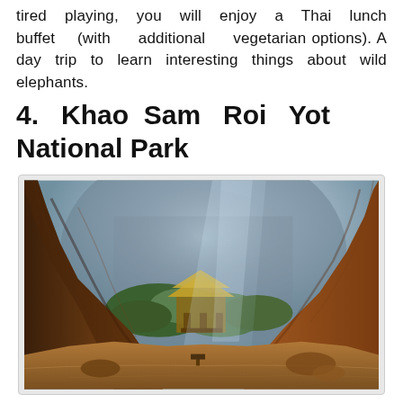tired playing, you will enjoy a Thai lunch buffet (with additional vegetarian options). A day trip to learn interesting things about wild elephants.
4.  Khao Sam Roi Yot National Park
[Figure (photo): A dramatic cave interior with warm orange and brown rock walls framing a view of light streaming in from above. In the background, a Thai-style pavilion or shrine is visible surrounded by lush green vegetation and rocky cliffs. The cave floor is visible in the foreground with sandy ground and some structures.]